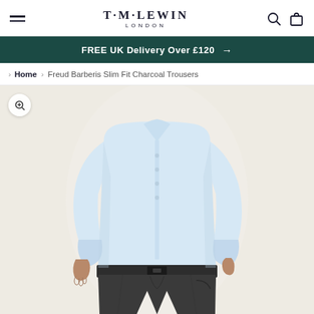T·M·LEWIN LONDON
FREE UK Delivery Over £120 →
Home > Freud Barberis Slim Fit Charcoal Trousers
[Figure (photo): A man wearing a light blue dress shirt tucked into charcoal slim fit trousers. The image shows the torso and legs of the model against a light beige/cream background. He has one hand in his pocket.]